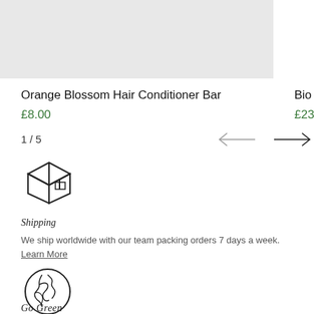[Figure (photo): Product image placeholder - light grey rectangle]
Orange Blossom Hair Conditioner Bar
£8.00
Bio B
£23.0
1 / 5
[Figure (illustration): Left arrow navigation (grey)]
[Figure (illustration): Right arrow navigation (black)]
[Figure (illustration): Shipping box icon - line art of a cardboard box]
Shipping
We ship worldwide with our team packing orders 7 days a week.
Learn More
[Figure (illustration): Globe/earth icon - line art circle with world map silhouette]
Go Green